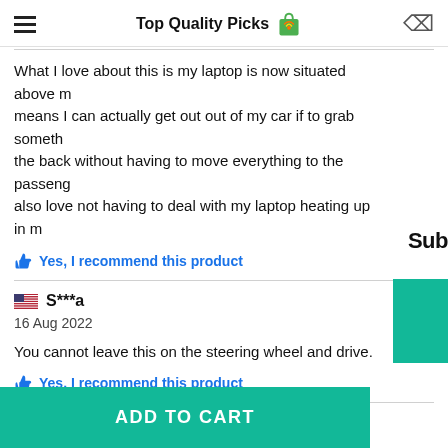Top Quality Picks
What I love about this is my laptop is now situated above m means I can actually get out out of my car if to grab someth the back without having to move everything to the passeng also love not having to deal with my laptop heating up in m
Yes, I recommend this product
S***a
16 Aug 2022
You cannot leave this on the steering wheel and drive.
Yes, I recommend this product
ADD TO CART